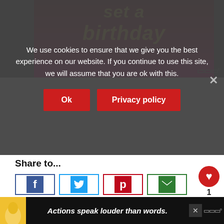[Figure (screenshot): Partially visible webpage with a dark pink/red banner image showing text 'set a birthday']
We use cookies to ensure that we give you the best experience on our website. If you continue to use this site, we will assume that you are ok with this.
Ok
Privacy policy
Share to...
[Figure (screenshot): Row of social share buttons: Facebook (blue), Twitter (light blue), Pinterest (red), Email (green)]
[Figure (screenshot): Heart/like widget showing count of 1, and a share+ button]
[Figure (screenshot): What's Next section with thumbnail and text 'Peanut Butter Banana...']
[Figure (screenshot): Bottom ad bar with person image and text 'Actions speak louder than words.']